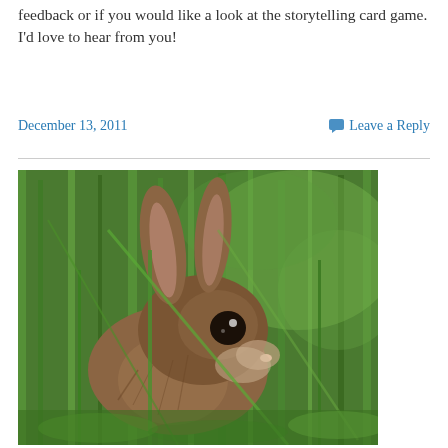feedback or if you would like a look at the storytelling card game.  I'd love to hear from you!
December 13, 2011    Leave a Reply
[Figure (photo): A wild rabbit (cottontail) peeking through tall green grass, close-up nature photograph]